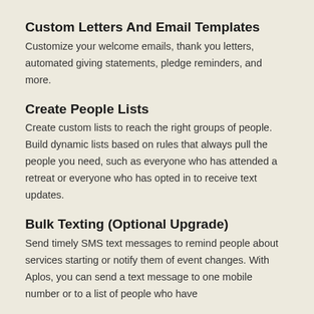Custom Letters And Email Templates
Customize your welcome emails, thank you letters, automated giving statements, pledge reminders, and more.
Create People Lists
Create custom lists to reach the right groups of people. Build dynamic lists based on rules that always pull the people you need, such as everyone who has attended a retreat or everyone who has opted in to receive text updates.
Bulk Texting (Optional Upgrade)
Send timely SMS text messages to remind people about services starting or notify them of event changes. With Aplos, you can send a text message to one mobile number or to a list of people who have